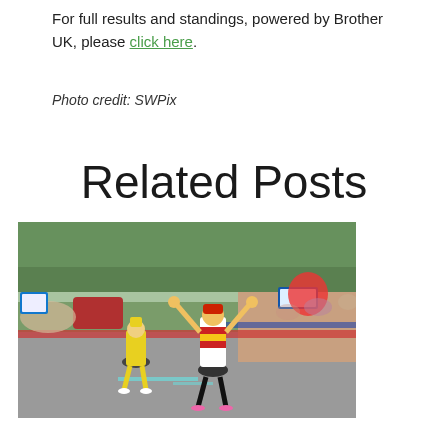For full results and standings, powered by Brother UK, please click here.
Photo credit: SWPix
Related Posts
[Figure (photo): A cyclist in UAE team kit with Spanish national jersey stripes raising both arms in victory at a race finish line, with a rider in yellow jersey behind, crowds and barriers visible, taken on a sunny day.]